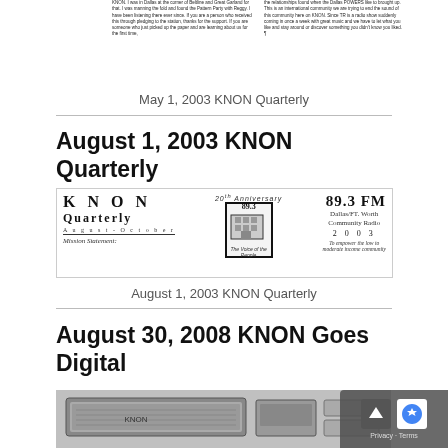[Figure (illustration): Clipped top portion of a newsletter text page with two columns of small text]
May 1, 2003 KNON Quarterly
August 1, 2003 KNON Quarterly
[Figure (illustration): KNON Quarterly August-October 2003 newsletter masthead with 20th Anniversary badge, showing KNON 89.3 FM Dallas/Ft. Worth Community Radio 2003, Mission Statement: To empower the low to moderate income community]
August 1, 2003 KNON Quarterly
August 30, 2008 KNON Goes Digital
[Figure (photo): Photograph of digital broadcasting equipment or computer hardware]